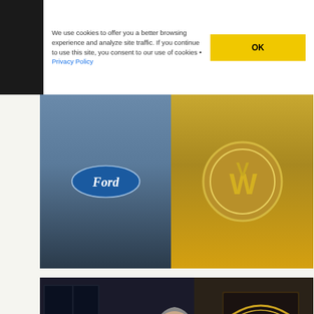We use cookies to offer you a better browsing experience and analyze site traffic. If you continue to use this site, you consent to our use of cookies • Privacy Policy
[Figure (photo): Split image showing Ford logo badge on left (blue/grey background) and Volkswagen VW logo badge on right (gold/chrome)]
Volkswagen And Ford May Announce A Potential Automotive Alliance For Creating The Cars Of The Future
JANUARY 16, 2019
[Figure (photo): Photo of Theresa May speaking outside 10 Downing Street, wearing a dark navy blazer and red necklace]